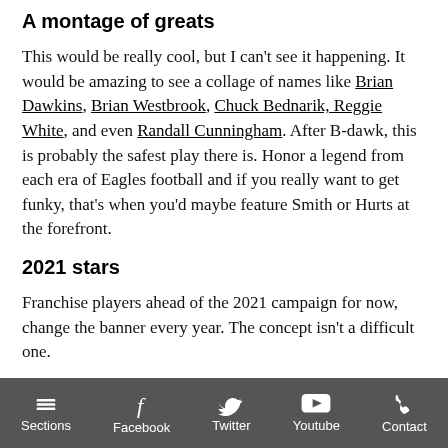A montage of greats
This would be really cool, but I can't see it happening. It would be amazing to see a collage of names like Brian Dawkins, Brian Westbrook, Chuck Bednarik, Reggie White, and even Randall Cunningham. After B-dawk, this is probably the safest play there is. Honor a legend from each era of Eagles football and if you really want to get funky, that's when you'd maybe feature Smith or Hurts at the forefront.
2021 stars
Franchise players ahead of the 2021 campaign for now, change the banner every year. The concept isn't a difficult one.
That way, the marketability of players like Jason Kelce, Lane Johnson, Brandon Graham, Fletcher Cox, and Darius Slay are all capitalized on, and you're not going to look silly next year if you
Sections  Facebook  Twitter  Youtube  Contact